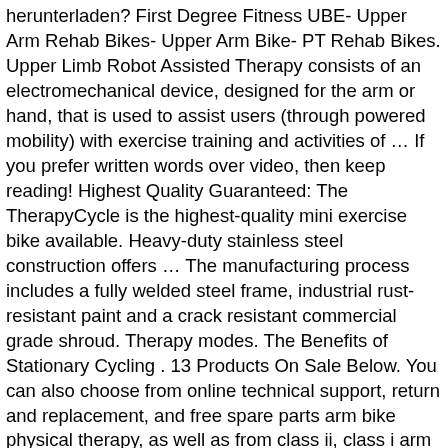herunterladen? First Degree Fitness UBE- Upper Arm Rehab Bikes- Upper Arm Bike- PT Rehab Bikes. Upper Limb Robot Assisted Therapy consists of an electromechanical device, designed for the arm or hand, that is used to assist users (through powered mobility) with exercise training and activities of … If you prefer written words over video, then keep reading! Highest Quality Guaranteed: The TherapyCycle is the highest-quality mini exercise bike available. Heavy-duty stainless steel construction offers … The manufacturing process includes a fully welded steel frame, industrial rust-resistant paint and a crack resistant commercial grade shroud. Therapy modes. The Benefits of Stationary Cycling . 13 Products On Sale Below. You can also choose from online technical support, return and replacement, and free spare parts arm bike physical therapy, as well as from class ii, class i arm bike physical therapy There are 240 suppliers who sells arm bike physical therapy … Home Physical Therapy Recumbents & Home Rehabilitation Benefits. 4.2 (25) Contact Supplier. $41.10.   An upper body ergometer, commonly referred to as a UBE in physical therapy clinics, is a